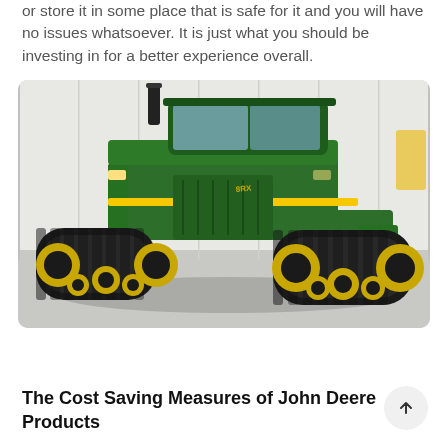or store it in some place that is safe for it and you will have no issues whatsoever. It is just what you should be investing in for a better experience overall.
[Figure (photo): A large green John Deere track tractor (with rubber tracks and yellow wheels) photographed indoors in a white showroom or warehouse. The tractor is a prominent dark green color with yellow accents on the tracks.]
The Cost Saving Measures of John Deere Products